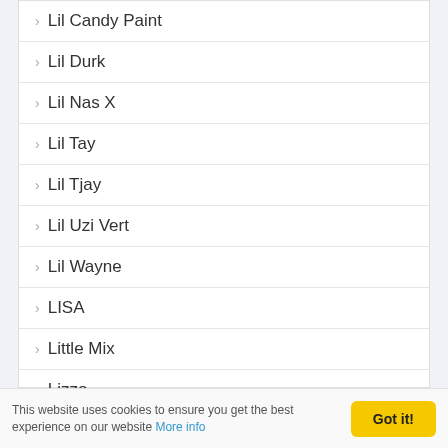› Lil Candy Paint
› Lil Durk
› Lil Nas X
› Lil Tay
› Lil Tjay
› Lil Uzi Vert
› Lil Wayne
› LISA
› Little Mix
› Lizzo
› Lloyd Banks
› Loredana
This website uses cookies to ensure you get the best experience on our website More info  Got it!